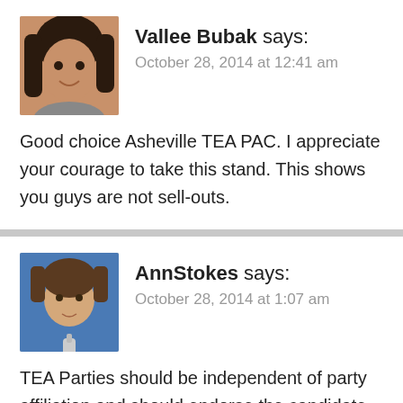[Figure (photo): Avatar photo of Vallee Bubak, woman with dark hair]
Vallee Bubak says:
October 28, 2014 at 12:41 am
Good choice Asheville TEA PAC. I appreciate your courage to take this stand. This shows you guys are not sell-outs.
[Figure (photo): Avatar photo of AnnStokes, woman in blue shirt]
AnnStokes says:
October 28, 2014 at 1:07 am
TEA Parties should be independent of party affiliation and should endorse the candidate who most closely matches their values. The culture of corruption will never change as long as the